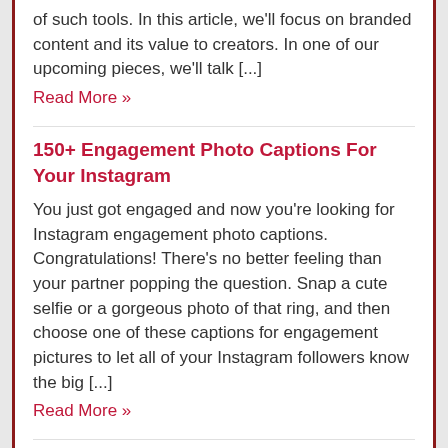of such tools. In this article, we'll focus on branded content and its value to creators. In one of our upcoming pieces, we'll talk [...]
Read More »
150+ Engagement Photo Captions For Your Instagram
You just got engaged and now you're looking for Instagram engagement photo captions. Congratulations! There's no better feeling than your partner popping the question. Snap a cute selfie or a gorgeous photo of that ring, and then choose one of these captions for engagement pictures to let all of your Instagram followers know the big [...]
Read More »
Why the answer to rising customer expectations lies